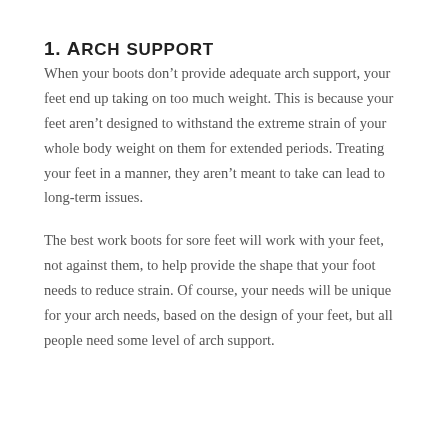1. Arch support
When your boots don't provide adequate arch support, your feet end up taking on too much weight. This is because your feet aren't designed to withstand the extreme strain of your whole body weight on them for extended periods. Treating your feet in a manner, they aren't meant to take can lead to long-term issues.
The best work boots for sore feet will work with your feet, not against them, to help provide the shape that your foot needs to reduce strain. Of course, your needs will be unique for your arch needs, based on the design of your feet, but all people need some level of arch support.